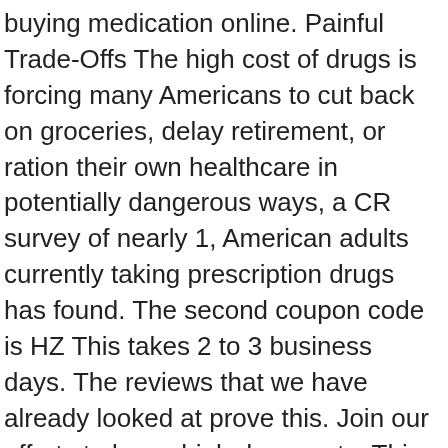buying medication online. Painful Trade-Offs The high cost of drugs is forcing many Americans to cut back on groceries, delay retirement, or ration their own healthcare in potentially dangerous ways, a CR survey of nearly 1, American adults currently taking prescription drugs has found. The second coupon code is HZ This takes 2 to 3 business days. The reviews that we have already looked at prove this. Join our efforts to lower high drug costs. This can be depicted in the reviews. We investigate pharmacies available online. We ensure that you find the best online pharmacy for your medication needs. Consumers Union, the advocacy division of Consumer Reports, is working to ease that burden by identifying and promoting meaningful reform. We added Viagra pills to the cart. Find the best drug prices from verified online pharmacies My PharmacyChecker. Some may even offer you free sex